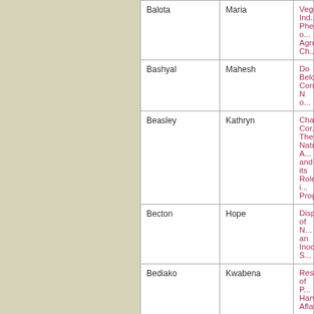| Last Name | First Name | Title |
| --- | --- | --- |
| Balota | Maria | Vegetation Ind... Phenotyping o... Agronomic Ch... |
| Bashyal | Mahesh | Do Belowgrou... Contribute N o... |
| Beasley | Kathryn | Chayote Cor... The Natural A... and its Role i... Programming... |
| Becton | Hope | Dispersal of N... an Inoculum S... |
| Bediako | Kwabena | Response of P... Harvest Aflato... |
| Bell | Jessica | Sensitivity of A... Peanut Fields... Flutolanil |
| Bennett | Rebecca | Response to D... U.S. Peanut M... States |
| Bertioli | David | Benefits of Int... Peanut Wild S... Case |
| Brown | Samantha | Quantifici... |